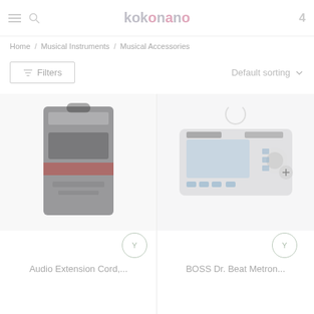kokonano — 4
Home / Musical Instruments / Musical Accessories
Filters   Default sorting
[Figure (photo): Product photo of Audio Extension Cord with packaging on dark background]
[Figure (photo): Product photo of BOSS Dr. Beat Metronome DB-60 device]
Audio Extension Cord,...
BOSS Dr. Beat Metron...